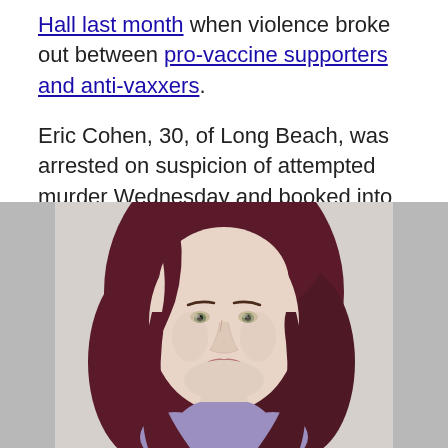Hall last month when violence broke out between pro-vaccine supporters and anti-vaxxers.
Eric Cohen, 30, of Long Beach, was arrested on suspicion of attempted murder Wednesday and booked into the Metropolitan Detention Center, according to the Los Angeles Police Department. He is currently being held on a $1 million bond.
[Figure (photo): Mugshot photo of Eric Cohen, a person with long dark reddish-brown hair, light skin, facing forward, wearing a purple/lavender top. Background is gray gradient.]